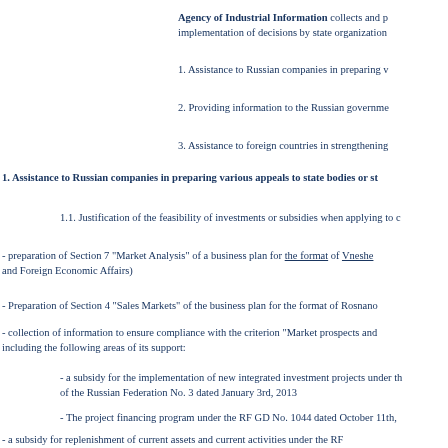Agency of Industrial Information collects and processes information for implementation of decisions by state organizations
1. Assistance to Russian companies in preparing v
2. Providing information to the Russian governme
3. Assistance to foreign countries in strengthening
1. Assistance to Russian companies in preparing various appeals to state bodies or st
1.1. Justification of the feasibility of investments or subsidies when applying to c
- preparation of Section 7 "Market Analysis" of a business plan for the format of Vneshe and Foreign Economic Affairs)
- Preparation of Section 4 "Sales Markets" of the business plan for the format of Rosnano
- collection of information to ensure compliance with the criterion "Market prospects and including the following areas of its support:
- a subsidy for the implementation of new integrated investment projects under the of the Russian Federation No. 3 dated January 3rd, 2013
- The project financing program under the RF GD No. 1044 dated October 11th,
- a subsidy for replenishment of current assets and current activities under the RF